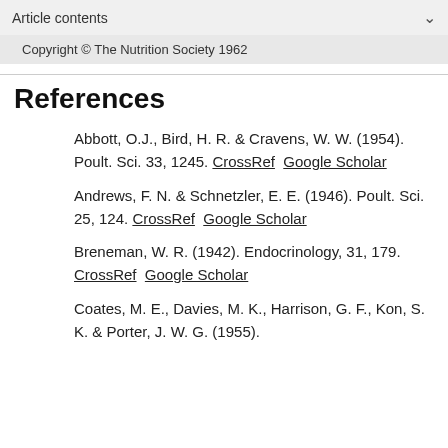Article contents
Copyright © The Nutrition Society 1962
References
Abbott, O.J., Bird, H. R. & Cravens, W. W. (1954). Poult. Sci. 33, 1245. CrossRef  Google Scholar
Andrews, F. N. & Schnetzler, E. E. (1946). Poult. Sci. 25, 124. CrossRef  Google Scholar
Breneman, W. R. (1942). Endocrinology, 31, 179. CrossRef  Google Scholar
Coates, M. E., Davies, M. K., Harrison, G. F., Kon, S. K. & Porter, J. W. G. (1955).